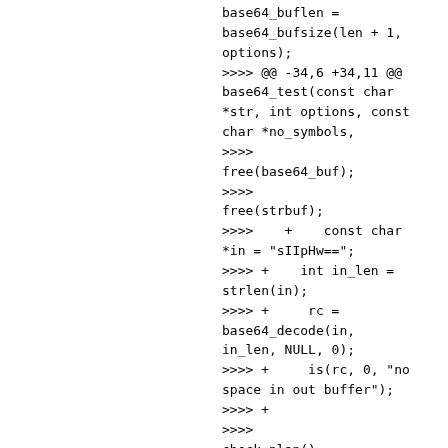base64_buflen =
base64_bufsize(len + 1,
options);
>>>> @@ -34,6 +34,11 @@
base64_test(const char
*str, int options, const
char *no_symbols,
>>>>
free(base64_buf);
>>>>
free(strbuf);
>>>>    +    const char
*in = "sIIpHw==";
>>>> +    int in_len =
strlen(in);
>>>> +     rc =
base64_decode(in,
in_len, NULL, 0);
>>>> +     is(rc, 0, "no
space in out buffer");
>>>> +
>>>>
check_plan();
>>>>      }
>>>>
===================
>>>>
>>>> It didn't crash
while the checks were in
place.